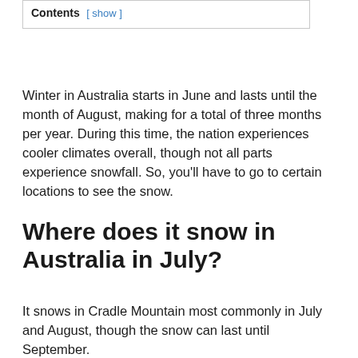Contents [ show ]
Winter in Australia starts in June and lasts until the month of August, making for a total of three months per year. During this time, the nation experiences cooler climates overall, though not all parts experience snowfall. So, you'll have to go to certain locations to see the snow.
Where does it snow in Australia in July?
It snows in Cradle Mountain most commonly in July and August, though the snow can last until September.